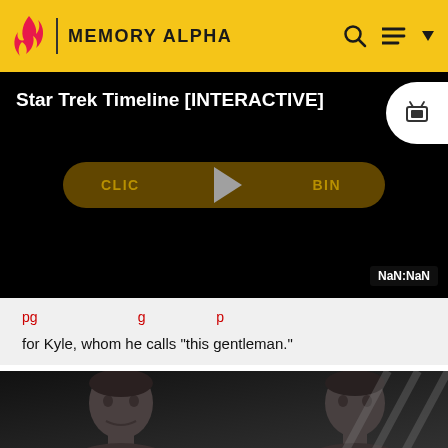MEMORY ALPHA
[Figure (screenshot): Video player showing 'Star Trek Timeline [INTERACTIVE]' with a play button overlay and 'CLICK TO BEGIN' text, time showing NaN:NaN]
for Kyle, whom he calls "this gentleman."
[Figure (photo): Two people (actors) shown in a dark scene from a Star Trek episode]